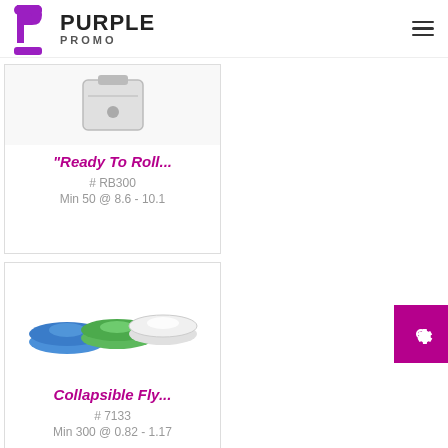[Figure (logo): Purple Promo logo with purple stylized 'P' icon and text PURPLE PROMO]
[Figure (photo): Product card: Ready To Roll backpack/bag item, SKU RB300]
"Ready To Roll...
# RB300
Min 50 @ 8.6 - 10.1
[Figure (photo): Product card: Collapsible Fly frisbee discs in blue, green, white colors]
Collapsible Fly...
# 7133
Min 300 @ 0.82 - 1.17
[Figure (photo): Product card: The Fandana bandana/face covering with Sierra View Elementary School Eagles design in blue, purple, red, green, orange color blocks]
"The Fandana...
# 7134OP3
Min 250 @ 2.83 - 4